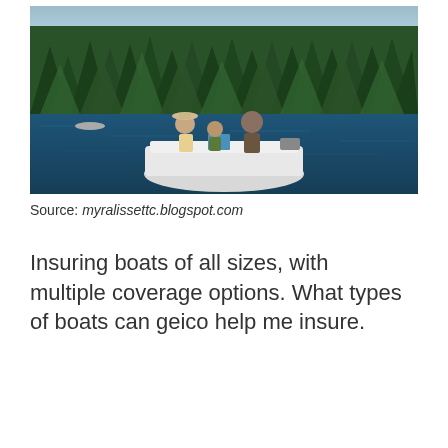[Figure (photo): A family of three (woman in hat, child, man) sitting on the back of a white motorboat on a blue lake, surrounded by dense green forest and pine trees in the background.]
Source: myralissettc.blogspot.com
Insuring boats of all sizes, with multiple coverage options. What types of boats can geico help me insure.